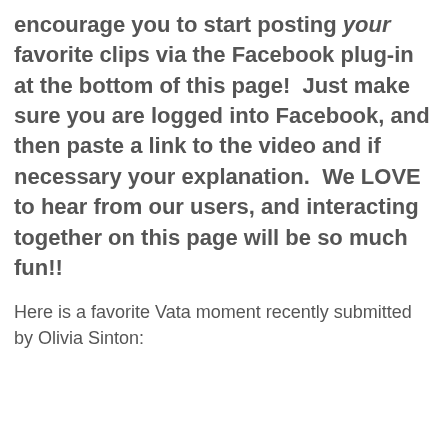encourage you to start posting your favorite clips via the Facebook plug-in at the bottom of this page!  Just make sure you are logged into Facebook, and then paste a link to the video and if necessary your explanation.  We LOVE to hear from our users, and interacting together on this page will be so much fun!!
Here is a favorite Vata moment recently submitted by Olivia Sinton: